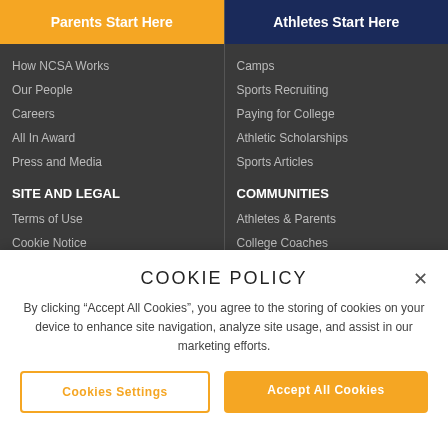Parents Start Here
Athletes Start Here
How NCSA Works
Camps
Our People
Sports Recruiting
Careers
Paying for College
All In Award
Athletic Scholarships
Press and Media
Sports Articles
SITE AND LEGAL
COMMUNITIES
Terms of Use
Athletes & Parents
Cookie Notice
College Coaches
Privacy Policy
Team Edition
California Privacy Rights
COOKIE POLICY
By clicking "Accept All Cookies", you agree to the storing of cookies on your device to enhance site navigation, analyze site usage, and assist in our marketing efforts.
Cookies Settings
Accept All Cookies